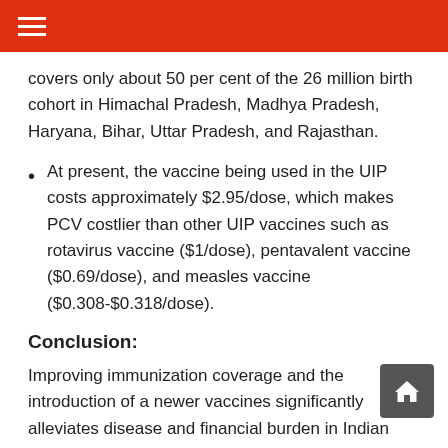☰
covers only about 50 per cent of the 26 million birth cohort in Himachal Pradesh, Madhya Pradesh, Haryana, Bihar, Uttar Pradesh, and Rajasthan.
At present, the vaccine being used in the UIP costs approximately $2.95/dose, which makes PCV costlier than other UIP vaccines such as rotavirus vaccine ($1/dose), pentavalent vaccine ($0.69/dose), and measles vaccine ($0.308-$0.318/dose).
Conclusion:
Improving immunization coverage and the introduction of a newer vaccines significantly alleviates disease and financial burden in Indian households. Population subgroups or regions with